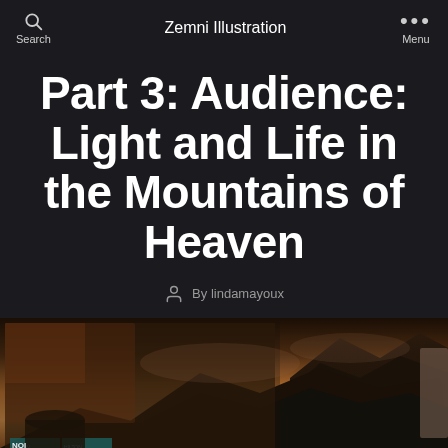Zemni Illustration
Part 3: Audience: Light and Life in the Mountains of Heaven
By lindamayoux
[Figure (photo): Dark atmospheric photograph showing mountain peaks with dramatic cloudy sky and warm orange/amber light at dusk or dawn, with a collage of newspaper clippings and textures in the foreground left, and a cloth or bag on the bottom right.]